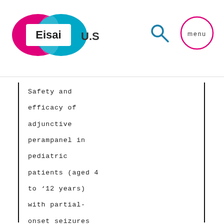[Figure (logo): Eisai U.S. logo with pink and teal overlapping ellipses and bold 'Eisai' text, followed by 'U.S.' text]
[Figure (other): Search icon (magnifying glass) and menu button circle with 'menu' text in pink circle]
Safety and efficacy of adjunctive perampanel in pediatric patients (aged 4 to <12 years) with partial-onset seizures (POS) or primary generalized tonic-clonic